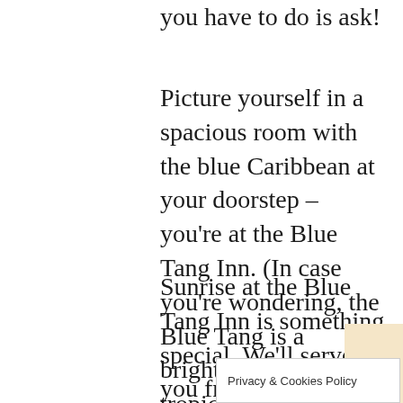you have to do is ask!
Picture yourself in a spacious room with the blue Caribbean at your doorstep – you're at the Blue Tang Inn. (In case you're wondering, the Blue Tang is a brightly colored tropical fish, commonly seen along our reef.) Stretch out on your deck or stroll on the beach.
Sunrise at the Blue Tang Inn is something special. We'll serve you fresh-brewed coffee and Island tasty fruits. No charge, by the way, you are our treasured guest.
Privacy & Cookies Policy   S RATE